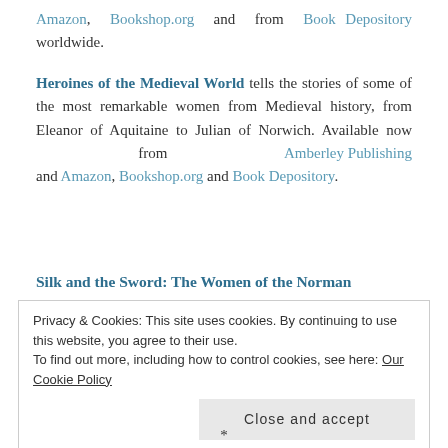Amazon, Bookshop.org and from Book Depository worldwide.
Heroines of the Medieval World tells the stories of some of the most remarkable women from Medieval history, from Eleanor of Aquitaine to Julian of Norwich. Available now from Amberley Publishing and Amazon, Bookshop.org and Book Depository.
Silk and the Sword: The Women of the Norman
Privacy & Cookies: This site uses cookies. By continuing to use this website, you agree to their use.
To find out more, including how to control cookies, see here: Our Cookie Policy
*